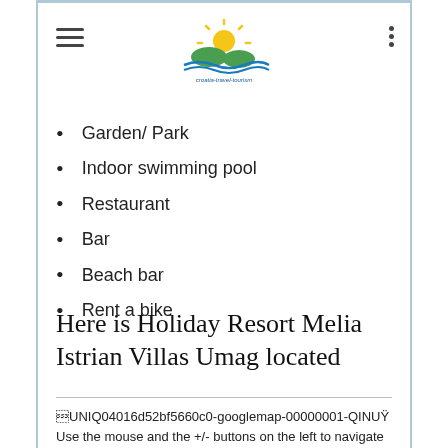[Figure (logo): Croatia Travel Tourism website logo with sun and sea waves graphic, blue text]
Garden/ Park
Indoor swimming pool
Restaurant
Bar
Beach bar
Rent a bike
Here is Holiday Resort Melia Istrian Villas Umag located
UNIQ04016d52bf5660c0-googlemap-00000001-QINU
Use the mouse and the +/- buttons on the left to navigate within the map of Holiday Resort Melia Istrian Villas Umag.